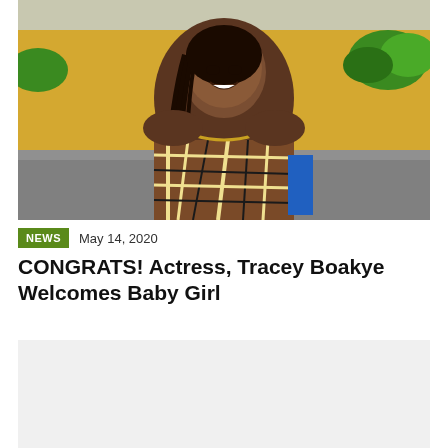[Figure (photo): A smiling woman with long braided hair wearing a brown and checkered/plaid patterned African dress/boubou, standing outdoors with a yellow wall and green shrubs in the background.]
NEWS   May 14, 2020
CONGRATS! Actress, Tracey Boakye Welcomes Baby Girl